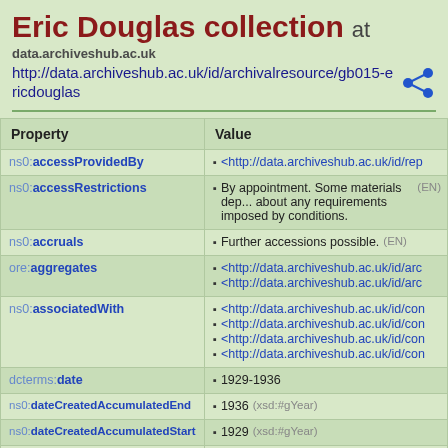Eric Douglas collection at
data.archiveshub.ac.uk
http://data.archiveshub.ac.uk/id/archivalresource/gb015-ericdouglas
| Property | Value |
| --- | --- |
| ns0:accessProvidedBy | <http://data.archiveshub.ac.uk/id/rep... |
| ns0:accessRestrictions | By appointment. Some materials dep... about any requirements imposed by... conditions. (EN) |
| ns0:accruals | Further accessions possible. (EN) |
| ore:aggregates | <http://data.archiveshub.ac.uk/id/arc...
<http://data.archiveshub.ac.uk/id/arc... |
| ns0:associatedWith | <http://data.archiveshub.ac.uk/id/con...
<http://data.archiveshub.ac.uk/id/con...
<http://data.archiveshub.ac.uk/id/con...
<http://data.archiveshub.ac.uk/id/con... |
| dcterms:date | 1929-1936 |
| ns0:dateCreatedAccumulatedEnd | 1936 (xsd:#gYear) |
| ns0:dateCreatedAccumulatedStart | 1929 (xsd:#gYear) |
| ns0:dateCreatedAccumulatedString | 1929-1936 |
| dcterms:extent | <http://data.archiveshub.ac.uk/id/ext... |